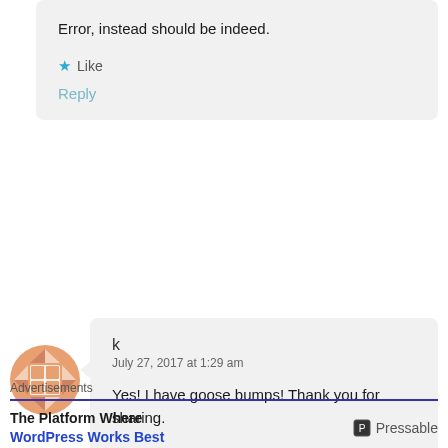Error, instead should be indeed.
Like
Reply
[Figure (illustration): Orange circular avatar with geometric diamond/grid pattern]
k
July 27, 2017 at 1:29 am
Yes! I have goose bumps! Thank you for sharing.
Liked by 1 person
Reply
Advertisements
The Platform Where WordPress Works Best
Pressable